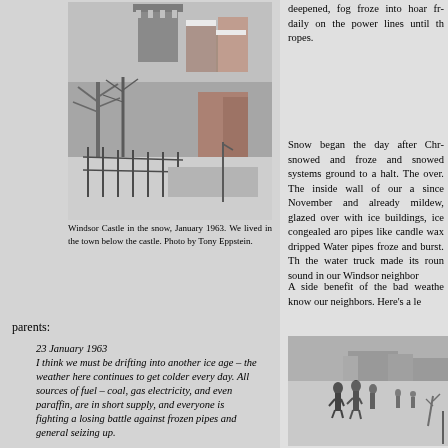[Figure (photo): Windsor Castle in the snow, black and white photo showing castle tower, bare trees, and snow-covered rooftops and streets below]
Windsor Castle in the snow, January 1963. We lived in the town below the castle. Photo by Tony Eppstein.
deepened, fog froze into hoar fr... daily on the power lines until th... ropes.
Snow began the day after Chr... snowed and froze and snowed... systems ground to a halt. The... over. The inside wall of our a... since November and already... mildew, glazed over with ice... buildings, ice congealed aro... pipes like candle wax dripped... Water pipes froze and burst. Th... the water truck made its roun... sound in our Windsor neighbor...
A side benefit of the bad weathe... know our neighbors. Here's a le...
parents:
23 January 1963
I think we must be drifting into another ice age – the weather here continues to get colder every day. All sources of fuel – coal, gas electricity, and even paraffin, are in short supply, and everyone is fighting a losing battle against frozen pipes and general seizing up.
[Figure (photo): People walking on a frozen, snow-covered landscape with buildings in the background, black and white photo]